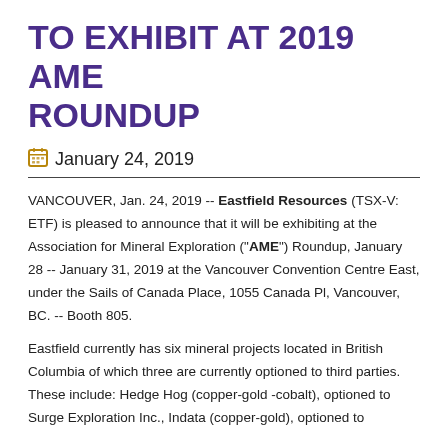TO EXHIBIT AT 2019 AME ROUNDUP
January 24, 2019
VANCOUVER, Jan. 24, 2019 -- Eastfield Resources (TSX-V: ETF) is pleased to announce that it will be exhibiting at the Association for Mineral Exploration ("AME") Roundup, January 28 -- January 31, 2019 at the Vancouver Convention Centre East, under the Sails of Canada Place, 1055 Canada Pl, Vancouver, BC. -- Booth 805.
Eastfield currently has six mineral projects located in British Columbia of which three are currently optioned to third parties. These include: Hedge Hog (copper-gold -cobalt), optioned to Surge Exploration Inc., Indata (copper-gold), optioned to